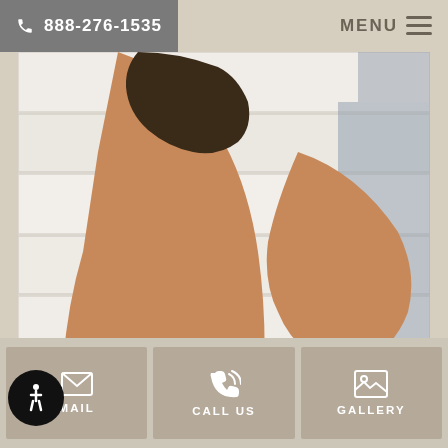☎ 888-276-1535    MENU ≡
[Figure (photo): Side view of a woman in a striped bikini bottom posing in front of a white wooden plank wall, showcasing body contouring results. She is wearing colorful bracelets and a ring.]
EMAIL  CALL US  GALLERY